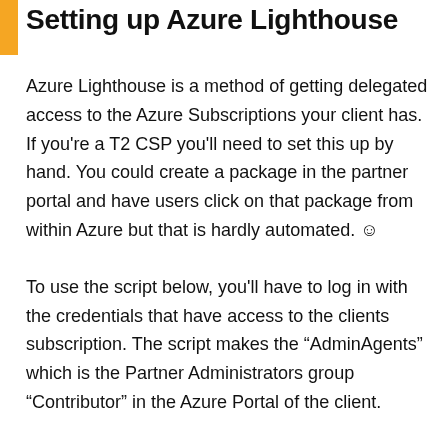Setting up Azure Lighthouse
Azure Lighthouse is a method of getting delegated access to the Azure Subscriptions your client has. If you're a T2 CSP you'll need to set this up by hand. You could create a package in the partner portal and have users click on that package from within Azure but that is hardly automated. ☺
To use the script below, you'll have to log in with the credentials that have access to the clients subscription. The script makes the "AdminAgents" which is the Partner Administrators group "Contributor" in the Azure Portal of the client.
We have a reminder for our billing department that this